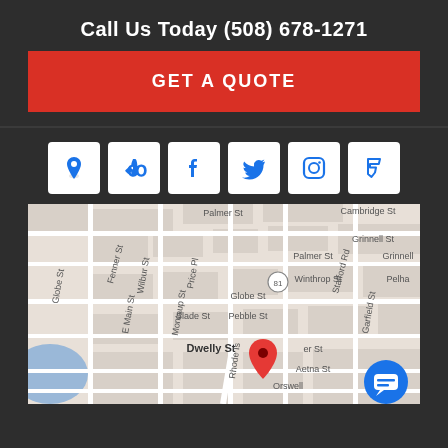Call Us Today (508) 678-1271
GET A QUOTE
[Figure (other): Row of 6 social/directory icon buttons: Google Maps pin, Yelp, Facebook, Twitter, Instagram, Foursquare]
[Figure (map): Google Maps view showing street map of Fall River, MA area with streets including Palmer St, Cambridge St, Grinnell St, Globe St, Dwelly St, Winthrop St, Pebble St, Slade St, Aetna St, Rhode Island Ave, with a red map pin marker and blue chat button overlay]